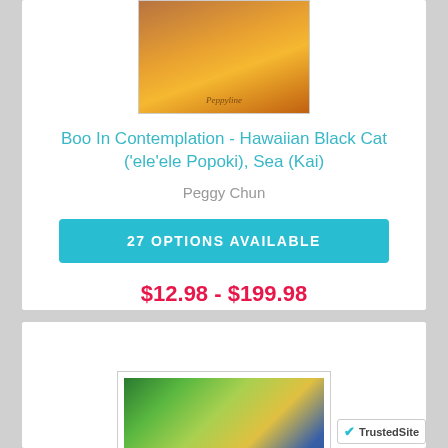[Figure (photo): Product image showing warm orange/brown tones with a signature, representing artwork]
Boo In Contemplation - Hawaiian Black Cat ('ele'ele Popoki), Sea (Kai)
Peggy Chun
27 OPTIONS AVAILABLE
$12.98 - $199.98
[Figure (photo): Colorful tropical artwork showing lush green palm leaves with vibrant colors]
TrustedSite